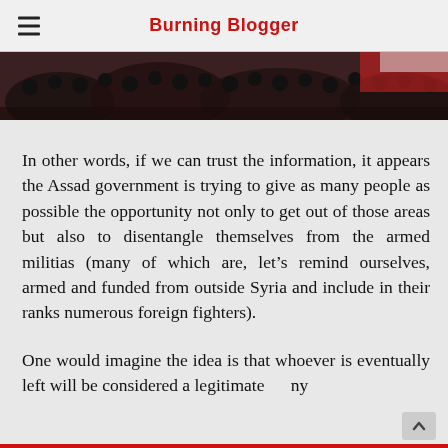Burning Blogger
[Figure (photo): Crowd scene photo with people and flags, partially visible at top of page]
In other words, if we can trust the information, it appears the Assad government is trying to give as many people as possible the opportunity not only to get out of those areas but also to disentangle themselves from the armed militias (many of which are, let’s remind ourselves, armed and funded from outside Syria and include in their ranks numerous foreign fighters).
One would imagine the idea is that whoever is eventually left will be considered a legitimate … ny